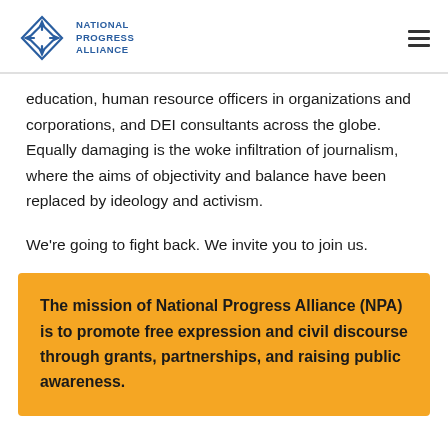NATIONAL PROGRESS ALLIANCE
education, human resource officers in organizations and corporations, and DEI consultants across the globe. Equally damaging is the woke infiltration of journalism, where the aims of objectivity and balance have been replaced by ideology and activism.
We’re going to fight back. We invite you to join us.
The mission of National Progress Alliance (NPA) is to promote free expression and civil discourse through grants, partnerships, and raising public awareness.